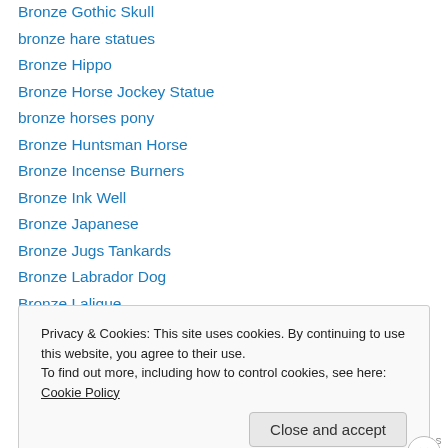Bronze Gothic Skull
bronze hare statues
Bronze Hippo
Bronze Horse Jockey Statue
bronze horses pony
Bronze Huntsman Horse
Bronze Incense Burners
Bronze Ink Well
Bronze Japanese
Bronze Jugs Tankards
Bronze Labrador Dog
Bronze Lalique
Bronze Lamp
Privacy & Cookies: This site uses cookies. By continuing to use this website, you agree to their use.
To find out more, including how to control cookies, see here: Cookie Policy
Close and accept